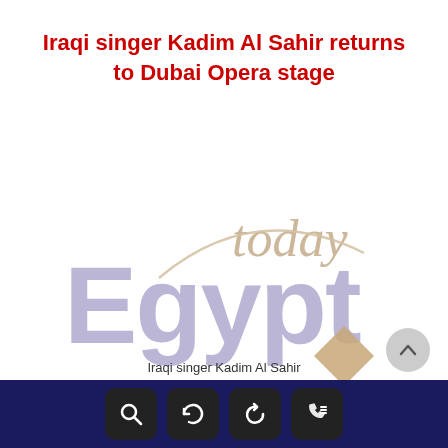Iraqi singer Kadim Al Sahir returns to Dubai Opera stage
[Figure (logo): Egypt Today logo with large purple 'Egypt' text and beige 'today' script text with a diamond shape]
Iraqi singer Kadim Al Sahir
Dubai - Egypt Today
Iraqi singer Kadim Al Sahir returns to Dubai Opera this month for a